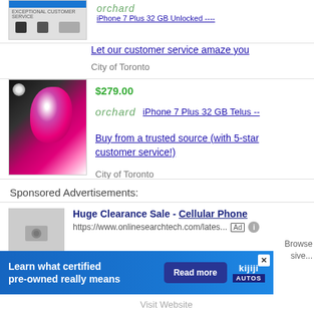[Figure (screenshot): Partial product listing showing a product image (cut off at top) and text links]
Let our customer service amaze you
City of Toronto
[Figure (photo): Product photo showing a pink and black item against a black background]
$279.00
orchard  iPhone 7 Plus 32 GB Telus --
Buy from a trusted source (with 5-star customer service!)
City of Toronto
Sponsored Advertisements:
[Figure (photo): Placeholder grey image for sponsored ad]
Huge Clearance Sale - Cellular Phone
https://www.onlinesearchtech.com/lates...
[Figure (screenshot): Kijiji Autos banner ad: Learn what certified pre-owned really means. Read more button. X close button.]